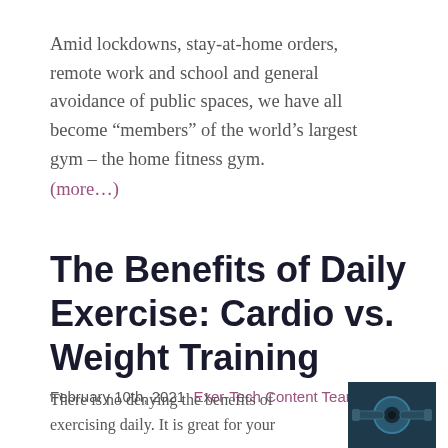Amid lockdowns, stay-at-home orders, remote work and school and general avoidance of public spaces, we have all become “members” of the world’s largest gym – the home fitness gym. (more…)
The Benefits of Daily Exercise: Cardio vs. Weight Training
February 10th, 2021 Exer-Tech Content Team
There is no denying the benefits of exercising daily. It is great for your
[Figure (photo): A dark-toned photo showing a weight plate/dumbbell for a fitness article about cardio vs. weight training.]